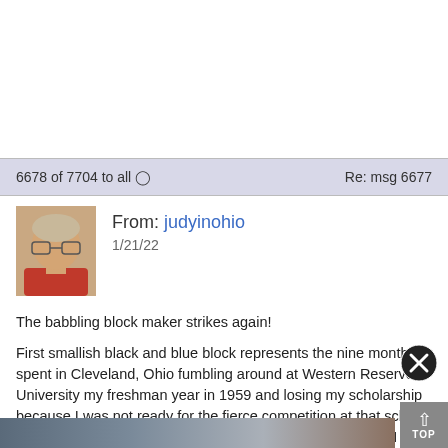6678 of 7704 to all  Re: msg 6677
From: judyinohio
1/21/22
[Figure (photo): Profile photo of judyinohio, an older woman with glasses and short grey-blonde hair, wearing a red shirt.]
The babbling block maker strikes again!

First smallish black and blue block represents the nine months I spent in Cleveland, Ohio fumbling around at Western Reserve University my freshman year in 1959 and losing my scholarship because I was not ready for the fierce competition at that school. Sigh. But it is one of the cities in Ohio where I lived and so I must be included in this quilt.
[Figure (photo): Partial bottom strip showing edge of a quilt image.]